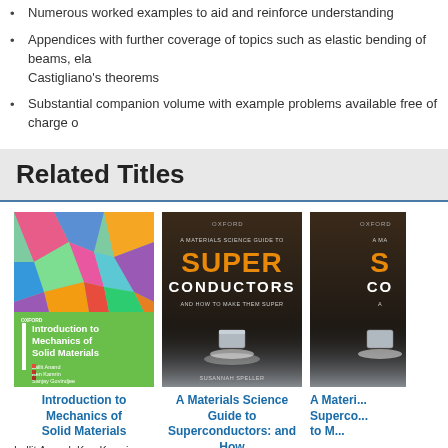Numerous worked examples to aid and reinforce understanding
Appendices with further coverage of topics such as elastic bending of beams, ela... Castigliano's theorems
Substantial companion volume with example problems available free of charge o...
Related Titles
[Figure (illustration): Book cover: Introduction to Mechanics of Solid Materials, Oxford University Press, green cover with colorful crystal microstructure image. Authors: Lallit Anand, Ken Kamrin, Sanjay Govindjee]
[Figure (illustration): Book cover: A Materials Science Guide to Superconductors: and How to Make Them Super, dark background with levitating magnet, author Susannah Speller]
[Figure (illustration): Book cover: A Materials Science Guide to Superconductors (partially visible, cut off on right)]
Introduction to Mechanics of Solid Materials
A Materials Science Guide to Superconductors: and How to Make Them Super
A Materi... Superco... to M...
Lallit Anand, Ken Kamrin, Sanjay